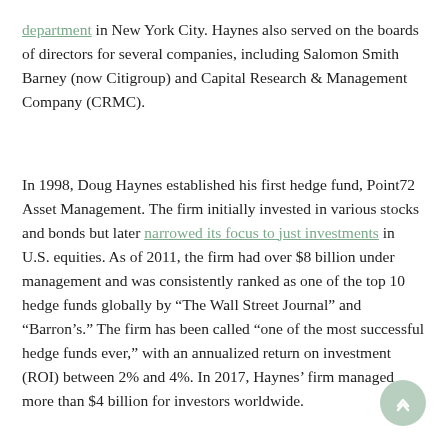department in New York City. Haynes also served on the boards of directors for several companies, including Salomon Smith Barney (now Citigroup) and Capital Research & Management Company (CRMC).
In 1998, Doug Haynes established his first hedge fund, Point72 Asset Management. The firm initially invested in various stocks and bonds but later narrowed its focus to just investments in U.S. equities. As of 2011, the firm had over $8 billion under management and was consistently ranked as one of the top 10 hedge funds globally by “The Wall Street Journal” and “Barron’s.” The firm has been called “one of the most successful hedge funds ever,” with an annualized return on investment (ROI) between 2% and 4%. In 2017, Haynes’ firm managed more than $4 billion for investors worldwide.